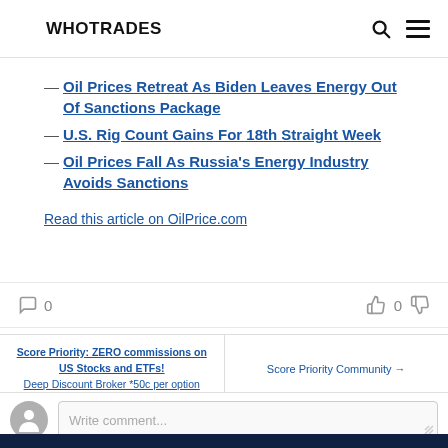WHOTRADES
— Oil Prices Retreat As Biden Leaves Energy Out Of Sanctions Package
— U.S. Rig Count Gains For 18th Straight Week
— Oil Prices Fall As Russia's Energy Industry Avoids Sanctions
Read this article on OilPrice.com
0   0
Score Priority: ZERO commissions on US Stocks and ETFs!
Deep Discount Broker *50c per option
Score Priority Community →
Write comment...